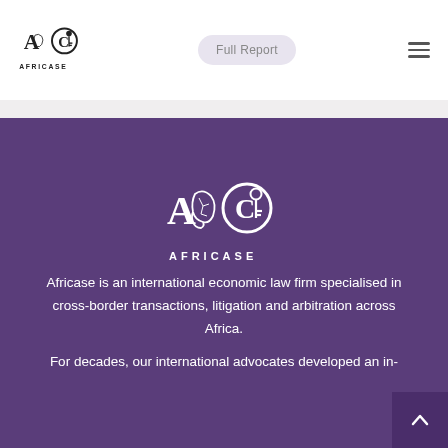[Figure (logo): Africase logo (AC with key, AFRICASE text) in black, top-left navigation bar]
Full Report
[Figure (logo): Africase logo in white on purple background, centered]
Africase is an international economic law firm specialised in cross-border transactions, litigation and arbitration across Africa.
For decades, our international advocates developed an in-